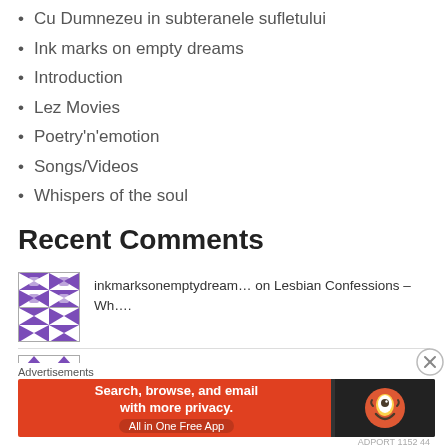Cu Dumnezeu in subteranele sufletului
Ink marks on empty dreams
Introduction
Lez Movies
Poetry'n'emotion
Songs/Videos
Whispers of the soul
Recent Comments
inkmarksonemptydream… on Lesbian Confessions – Wh….
inkmarksonemptydream… on The interwar lovestory of Celi….
Advertisements
[Figure (infographic): DuckDuckGo advertisement banner: Search, browse, and email with more privacy. All in One Free App. Orange background with DuckDuckGo logo on dark right side.]